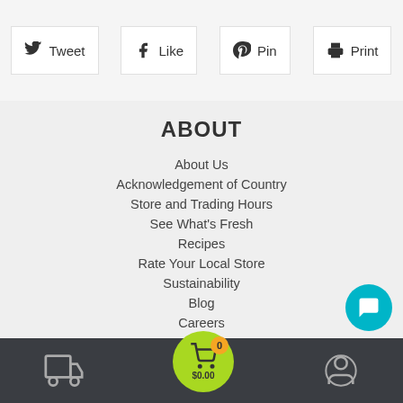[Figure (screenshot): Social sharing buttons row: Tweet, Like, Pin, Print]
ABOUT
About Us
Acknowledgement of Country
Store and Trading Hours
See What's Fresh
Recipes
Rate Your Local Store
Sustainability
Blog
Careers
Contact Us
SHOP ONLINE
Bottom navigation bar with delivery, cart ($0.00, 0 items), and account icons